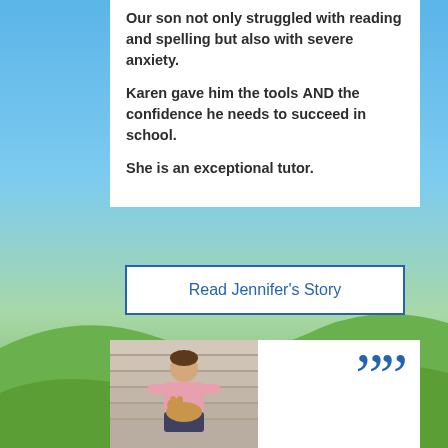Our son not only struggled with reading and spelling but also with severe anxiety.

Karen gave him the tools AND the confidence he needs to succeed in school.

She is an exceptional tutor.
Read Jennifer's Story
[Figure (photo): A young man sitting on stairs holding a small dog (cat-like animal), wearing a pink shirt and shorts]